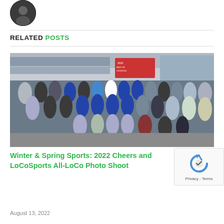[Figure (photo): Circular avatar/profile photo of a person]
RELATED POSTS
[Figure (photo): Group photo of young athletes/students inside a sports store with merchandise on the walls; a 'Best of Loudoun' sign visible in the background]
Winter & Spring Sports: 2022 Cheers and LoCoSports All-LoCo Photo Shoot
August 13, 2022
[Figure (other): reCAPTCHA badge with Privacy and Terms links]